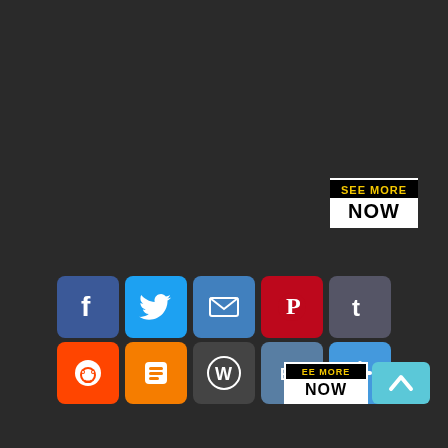[Figure (screenshot): Dark background page with a 'SEE MORE NOW' button in the upper right and social media sharing icons at the bottom center, plus a scroll-to-top button.]